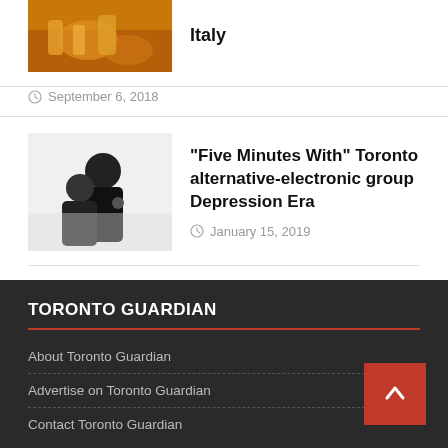[Figure (photo): Food photo thumbnail - partially cropped at top]
Italy
September 6, 2018
[Figure (photo): Two musicians in black and white photo]
“Five Minutes With” Toronto alternative-electronic group Depression Era
January 15, 2019
[Figure (photo): Aerial city night photo with camera on building]
“Happy New Year!” by Toronto Photographer Naeem Jaffer
January 8, 2018
TORONTO GUARDIAN
About Toronto Guardian
Advertise on Toronto Guardian
Contact Toronto Guardian